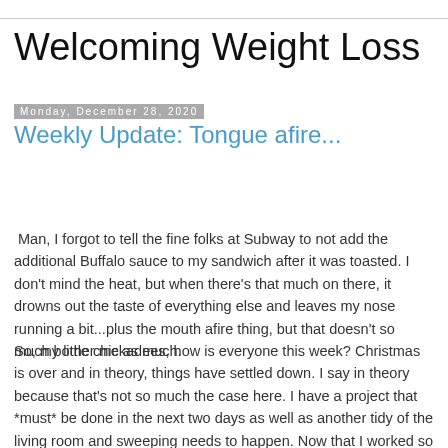Welcoming Weight Loss
Monday, December 28, 2020
Weekly Update: Tongue afire...
Man, I forgot to tell the fine folks at Subway to not add the additional Buffalo sauce to my sandwich after it was toasted. I don't mind the heat, but when there's that much on there, it drowns out the taste of everything else and leaves my nose running a bit...plus the mouth afire thing, but that doesn't so much bother me as much.
So, my little chickadees, how is everyone this week? Christmas is over and in theory, things have settled down. I say in theory because that's not so much the case here. I have a project that *must* be done in the next two days as well as another tidy of the living room and sweeping needs to happen. Now that I worked so hard getting it to okay, I want to keep it that way until I figure out how to downsize some